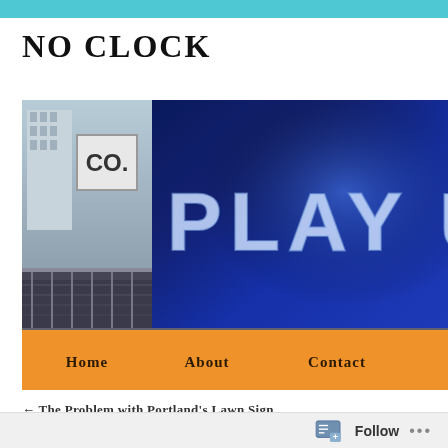NO CLOCK
[Figure (photo): Header image of a stadium scoreboard showing 'PLAY U' text in large blue illuminated letters, with crowd and stadium structure visible on the left side. Below the image is an orange navigation bar with links: Home, About, Contact.]
← The Problem with Portland's Lawn Sign
Follow ...